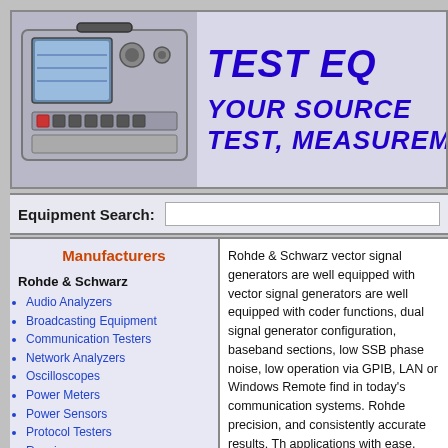[Figure (photo): Photo of test equipment / radio device with screen and controls]
TEST EQUIPMENT - YOUR SOURCE FOR TEST, MEASUREMENT...
Equipment Search:
Manufacturers
Rohde & Schwarz - Audio Analyzers, Broadcasting Equipment, Communication Testers, Network Analyzers, Oscilloscopes, Power Meters, Power Sensors, Protocol Testers, Receivers, Signal Analyzers, Signal Generators (Microwave, Modulation Generators, RF Generators, Vector, Waveform Generators)
Rohde & Schwarz vector signal generators are well equipped with coder functions, dual signal generator configuration, baseband sections, low SSB phase noise, low operation via GPIB, LAN or Windows Remote find in today's communication systems. Rohde precision, and consistently accurate results. The applications with ease.
Rohde & Schwarz is one of the world's leading & Schwarz signal generators to be second to none on Rohde & Schwarz vector signal generators equipment you need for prices you can easily afford, sale at steeply discounted prices. We're able to with eBay - you won't find better prices or a more...
If you don't see exactly what you need, use our available contact us and we'll check daily and...